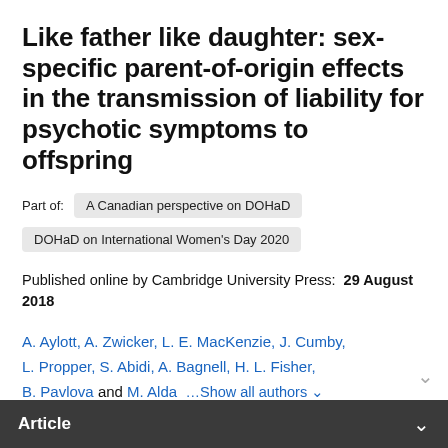Like father like daughter: sex-specific parent-of-origin effects in the transmission of liability for psychotic symptoms to offspring
Part of:  A Canadian perspective on DOHaD
DOHaD on International Women's Day 2020
Published online by Cambridge University Press:  29 August 2018
A. Aylott, A. Zwicker, L. E. MacKenzie, J. Cumby, L. Propper, S. Abidi, A. Bagnell, H. L. Fisher, B. Pavlova and M. Alda  ...Show all authors
Article